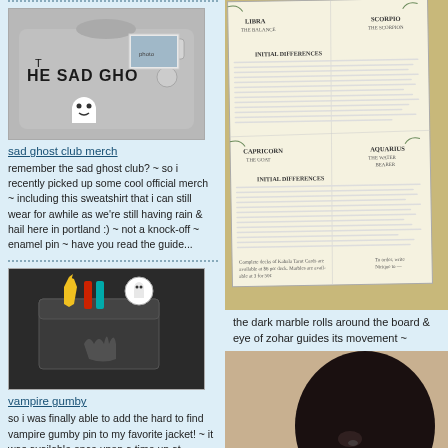[Figure (photo): Sad ghost club sweatshirt with HE SAD GHOS text and a ghost icon, gray sweatshirt with patches and badges]
sad ghost club merch
remember the sad ghost club? ~ so i recently picked up some cool official merch ~ including this sweatshirt that i can still wear for awhile as we're still having rain & hail here in portland :) ~ not a knock-off ~ enamel pin ~ have you read the guide...
[Figure (photo): Denim jacket pocket with colorful enamel pins including vampire gumby and a ghost badge]
vampire gumby
so i was finally able to add the hard to find vampire gumby pin to my favorite jacket! ~ it was available once upon a time up at
[Figure (photo): Tarot card reference sheet laid flat on wooden surface showing zodiac signs including Libra, Scorpio, Capricorn, Aquarius sections with text]
the dark marble rolls around the board & eye of zohar guides its movement ~
[Figure (photo): Black coffee cup photographed from above on light wooden surface]